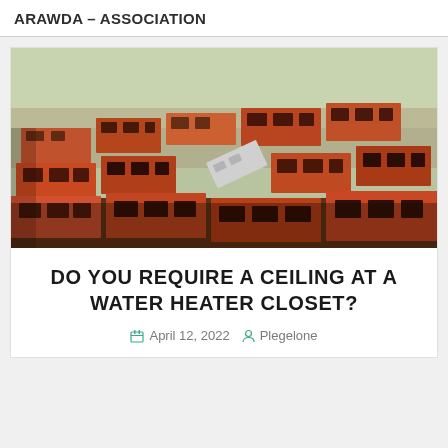ARAWDA – ASSOCIATION
[Figure (photo): Pile of stacked red/orange clay bricks with holes, scattered outdoors in natural light]
DO YOU REQUIRE A CEILING AT A WATER HEATER CLOSET?
April 12, 2022  Plegelone